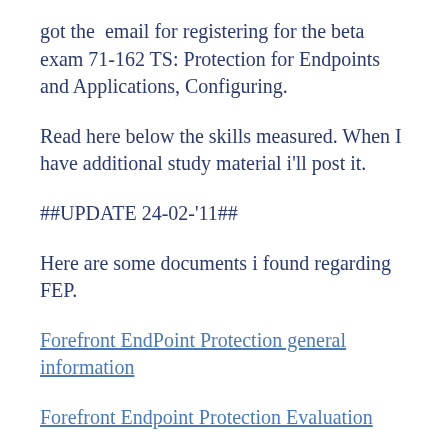got the email for registering for the beta exam 71-162 TS: Protection for Endpoints and Applications, Configuring.
Read here below the skills measured. When I have additional study material i'll post it.
##UPDATE 24-02-'11##
Here are some documents i found regarding FEP.
Forefront EndPoint Protection general information
Forefront Endpoint Protection Evaluation